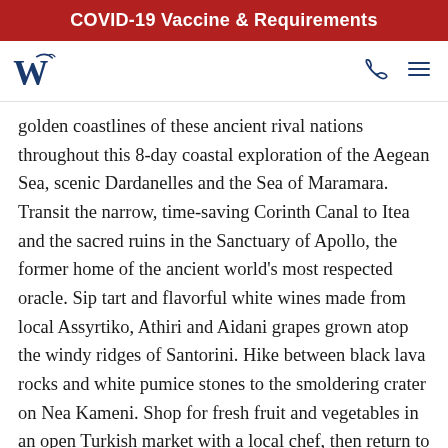COVID-19 Vaccine & Requirements
[Figure (logo): Windstar Cruises W logo in dark navy blue]
golden coastlines of these ancient rival nations throughout this 8-day coastal exploration of the Aegean Sea, scenic Dardanelles and the Sea of Maramara. Transit the narrow, time-saving Corinth Canal to Itea and the sacred ruins in the Sanctuary of Apollo, the former home of the ancient world’s most respected oracle. Sip tart and flavorful white wines made from local Assyrtiko, Athiri and Aidani grapes grown atop the windy ridges of Santorini. Hike between black lava rocks and white pumice stones to the smoldering crater on Nea Kameni. Shop for fresh fruit and vegetables in an open Turkish market with a local chef, then return to his Bodrum restaurant and cook up Turkish meals paired with regional beer. Stroll in the shade of former columned buildings in ancient Ephesus...